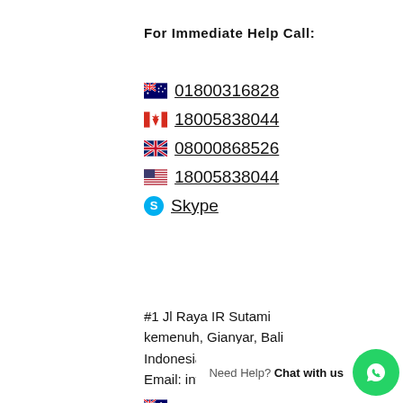For Immediate Help Call:
🇦🇺 01800316828
🇨🇦 18005838044
🇬🇧 08000868526
🇺🇸 18005838044
Skype
#1 Jl Raya IR Sutami kemenuh, Gianyar, Bali Indonesia
Email: info@ke...
🇦🇺 +6186102817...
🇨🇦 +19252760505
Need Help? Chat with us